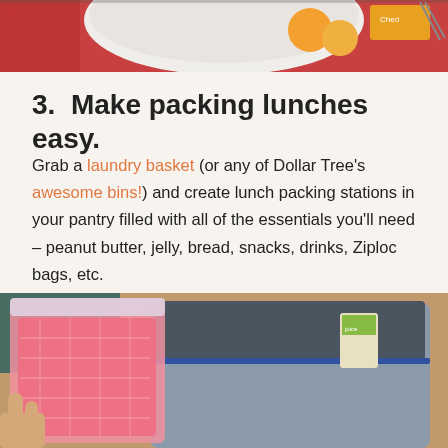[Figure (photo): Top portion of a photo showing food items in a bowl on a red bandana cloth background]
3. Make packing lunches easy.
Grab a laundry basket (or any of Dollar Tree's awesome bins!) and create lunch packing stations in your pantry filled with all of the essentials you'll need – peanut butter, jelly, bread, snacks, drinks, Ziploc bags, etc.
[Figure (photo): Photo of a hand holding a pink Ziploc bag next to an open insulated lunch bag with a juice box inside, on a brown surface]